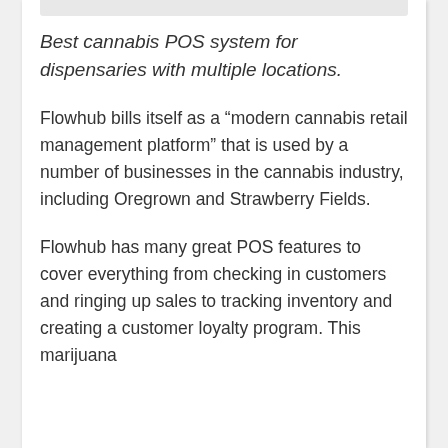Best cannabis POS system for dispensaries with multiple locations.
Flowhub bills itself as a “modern cannabis retail management platform” that is used by a number of businesses in the cannabis industry, including Oregrown and Strawberry Fields.
Flowhub has many great POS features to cover everything from checking in customers and ringing up sales to tracking inventory and creating a customer loyalty program. This marijuana